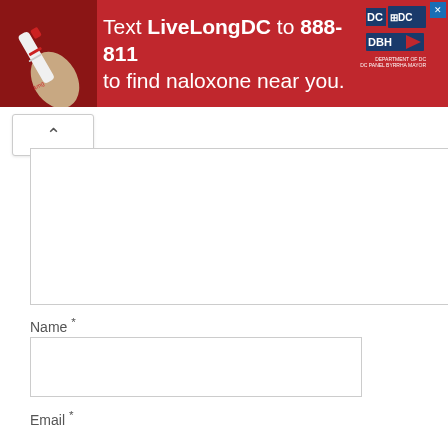[Figure (infographic): Red advertisement banner: 'Text LiveLongDC to 888-811 to find naloxone near you.' with DC and DBH government logos, plus a photo of a naloxone nasal spray device on the left.]
^
Name *
Email *
Website
Save my name, email, and